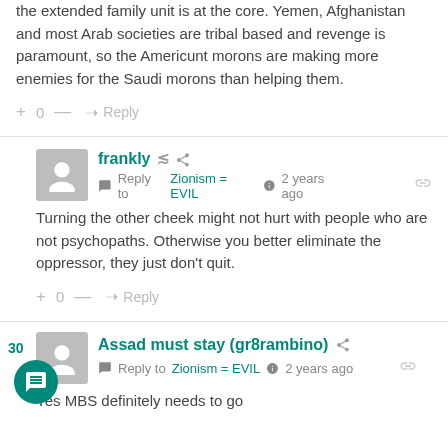the extended family unit is at the core. Yemen, Afghanistan and most Arab societies are tribal based and revenge is paramount, so the Americunt morons are making more enemies for the Saudi morons than helping them.
+ 0 — → Reply
frankly
Reply to Zionism = EVIL  2 years ago
Turning the other cheek might not hurt with people who are not psychopaths. Otherwise you better eliminate the oppressor, they just don't quit.
+ 0 — → Reply
Assad must stay (gr8rambino)
Reply to Zionism = EVIL  2 years ago
Yes MBS definitely needs to go